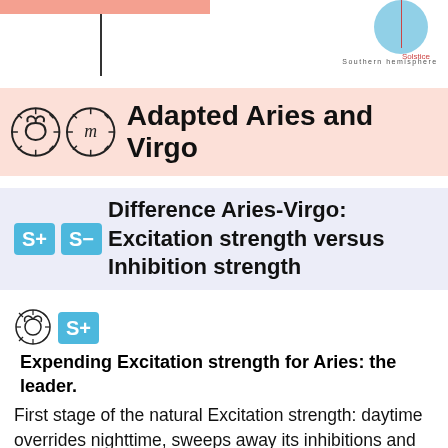[Figure (illustration): Top fragment showing a pink bar, vertical line, Southern hemisphere label, and a blue solstice circle with red line and label]
Adapted Aries and Virgo
S+ S− Difference Aries-Virgo: Excitation strength versus Inhibition strength
Expending Excitation strength for Aries: the leader. First stage of the natural Excitation strength: daytime overrides nighttime, sweeps away its inhibitions and indifferences. An intact energetic potential that storms out and dashes into the environment. Animal aggressivity, pioneering activities, ardent and concrete sensations, absolute spontaneity, no a priori; an instinctive and powerful, dynamic and audacious